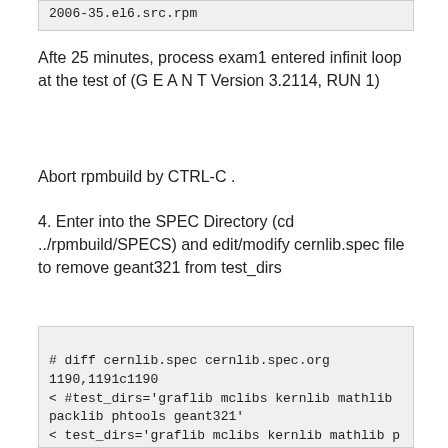2006-35.el6.src.rpm
Afte 25 minutes, process exam1 entered infinit loop at the test of (G E A N T Version 3.2114, RUN 1)
Abort rpmbuild by CTRL-C .
4. Enter into the SPEC Directory (cd ../rpmbuild/SPECS) and edit/modify cernlib.spec file to remove geant321 from test_dirs
# diff cernlib.spec cernlib.spec.org
1190,1191c1190
< #test_dirs='graflib mclibs kernlib mathlib packlib phtools geant321'
< test_dirs='graflib mclibs kernlib mathlib packlib phtools'
---
> test_dirs='graflib mclibs kernlib mathlib packlib phtools geant321'